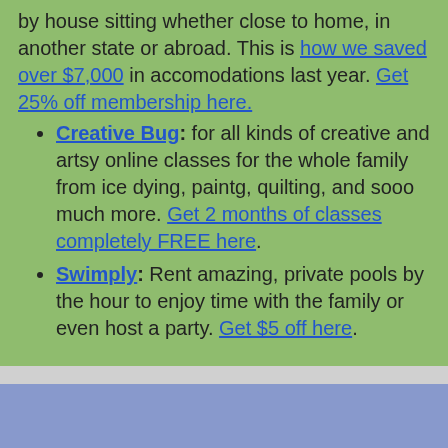by house sitting whether close to home, in another state or abroad. This is how we saved over $7,000 in accomodations last year. Get 25% off membership here.
Creative Bug: for all kinds of creative and artsy online classes for the whole family from ice dying, paintg, quilting, and sooo much more. Get 2 months of classes completely FREE here.
Swimply: Rent amazing, private pools by the hour to enjoy time with the family or even host a party. Get $5 off here.
Get Weekly Local Events